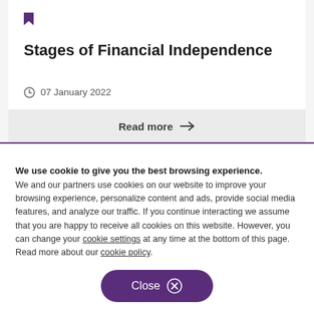Stages of Financial Independence
07 January 2022
Read more →
We use cookie to give you the best browsing experience. We and our partners use cookies on our website to improve your browsing experience, personalize content and ads, provide social media features, and analyze our traffic. If you continue interacting we assume that you are happy to receive all cookies on this website. However, you can change your cookie settings at any time at the bottom of this page. Read more about our cookie policy.
Close